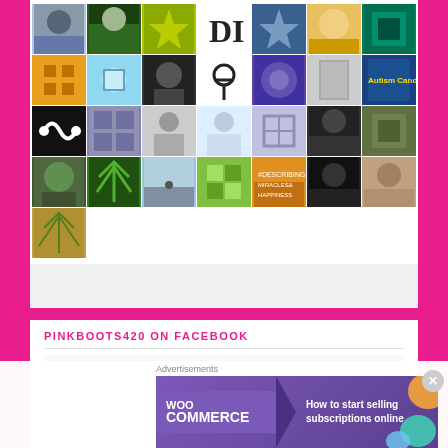[Figure (photo): Grid of social media profile thumbnails and decorative pattern tiles arranged in a 7-column grid layout, showing profile photos, geometric patterns, logos, and nature images]
PINKBOOTS420 ON FACEBOOK
[Figure (infographic): WooCommerce advertisement banner: 'How to start selling subscriptions online']